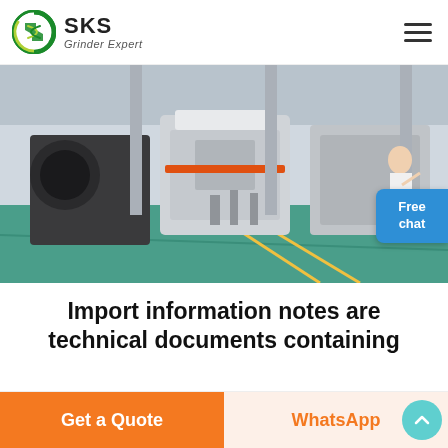[Figure (logo): SKS Grinder Expert logo with green circular icon and company name]
[Figure (photo): Industrial factory floor showing large grinding/crushing machines in a warehouse with green-painted floor]
Import information notes are technical documents containing
Get a Quote | WhatsApp